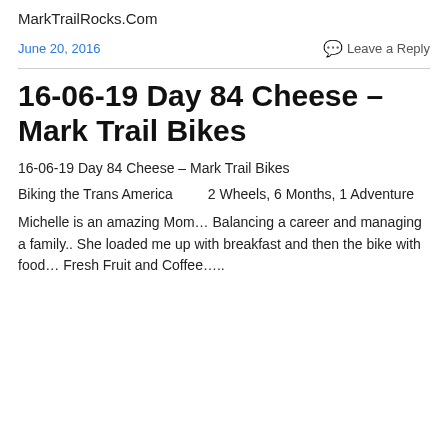MarkTrailRocks.Com
June 20, 2016
Leave a Reply
16-06-19 Day 84 Cheese – Mark Trail Bikes
16-06-19 Day 84 Cheese – Mark Trail Bikes
Biking the Trans America        2 Wheels, 6 Months, 1 Adventure
Michelle is an amazing Mom… Balancing a career and managing a family.. She loaded me up with breakfast and then the bike with food… Fresh Fruit and Coffee…..